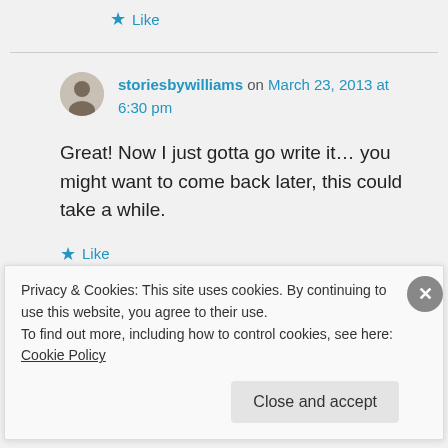★ Like
storiesbywilliams on March 23, 2013 at 6:30 pm
Great! Now I just gotta go write it… you might want to come back later, this could take a while.
★ Like
Privacy & Cookies: This site uses cookies. By continuing to use this website, you agree to their use.
To find out more, including how to control cookies, see here: Cookie Policy
Close and accept